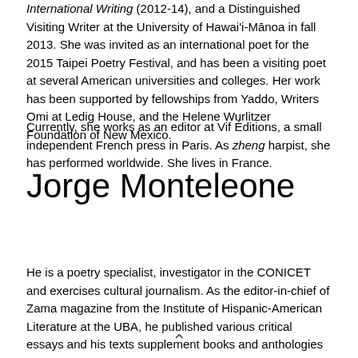International Writing (2012-14), and a Distinguished Visiting Writer at the University of Hawai'i-Mānoa in fall 2013. She was invited as an international poet for the 2015 Taipei Poetry Festival, and has been a visiting poet at several American universities and colleges. Her work has been supported by fellowships from Yaddo, Writers Omi at Ledig House, and the Helene Wurlitzer Foundation of New Mexico.
Currently, she works as an editor at Vif Éditions, a small independent French press in Paris. As zheng harpist, she has performed worldwide. She lives in France.
Jorge Monteleone
He is a poetry specialist, investigator in the CONICET and exercises cultural journalism. As the editor-in-chief of Zama magazine from the Institute of Hispanic-American Literature at the UBA, he published various critical essays and his texts supplement books and anthologies written by Argentine poets (i.e. Hugo